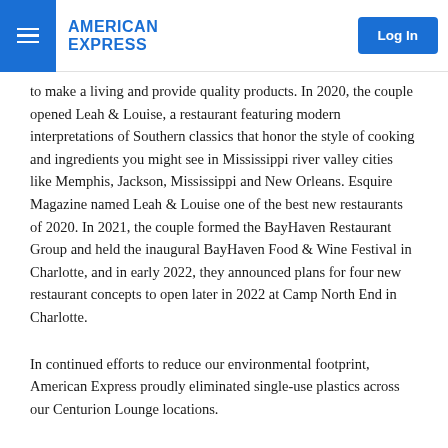American Express | Log In
to make a living and provide quality products. In 2020, the couple opened Leah & Louise, a restaurant featuring modern interpretations of Southern classics that honor the style of cooking and ingredients you might see in Mississippi river valley cities like Memphis, Jackson, Mississippi and New Orleans. Esquire Magazine named Leah & Louise one of the best new restaurants of 2020. In 2021, the couple formed the BayHaven Restaurant Group and held the inaugural BayHaven Food & Wine Festival in Charlotte, and in early 2022, they announced plans for four new restaurant concepts to open later in 2022 at Camp North End in Charlotte.
In continued efforts to reduce our environmental footprint, American Express proudly eliminated single-use plastics across our Centurion Lounge locations.